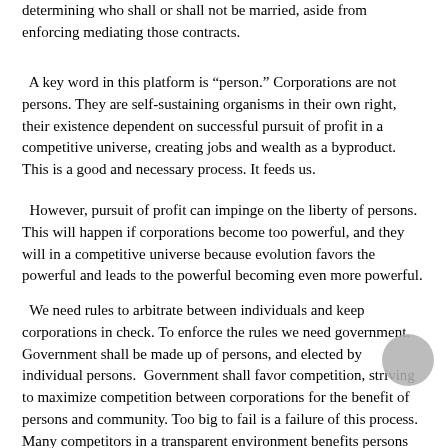determining who shall or shall not be married, aside from enforcing mediating those contracts.
A key word in this platform is “person.” Corporations are not persons. They are self-sustaining organisms in their own right, their existence dependent on successful pursuit of profit in a competitive universe, creating jobs and wealth as a byproduct. This is a good and necessary process. It feeds us.
However, pursuit of profit can impinge on the liberty of persons. This will happen if corporations become too powerful, and they will in a competitive universe because evolution favors the powerful and leads to the powerful becoming even more powerful.
We need rules to arbitrate between individuals and keep corporations in check. To enforce the rules we need government. Government shall be made up of persons, and elected by individual persons. Government shall favor competition, striving to maximize competition between corporations for the benefit of persons and community. Too big to fail is a failure of this process. Many competitors in a transparent environment benefits persons and community.